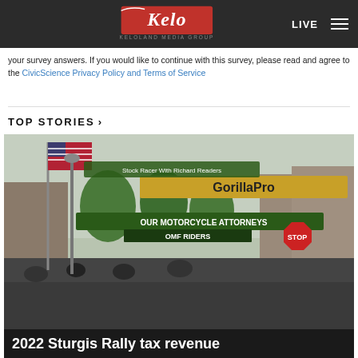KELOLAND Media Group | LIVE
your survey answers. If you would like to continue with this survey, please read and agree to the CivicScience Privacy Policy and Terms of Service
TOP STORIES ›
[Figure (photo): Street scene from Sturgis Motorcycle Rally with crowd, motorcycles, banners, American flag, and 'GorillaPro' and 'OUR MOTORCYCLE ATTORNEYS OMF RIDERS' signs visible overhead. Stop sign and storefronts in background.]
2022 Sturgis Rally tax revenue